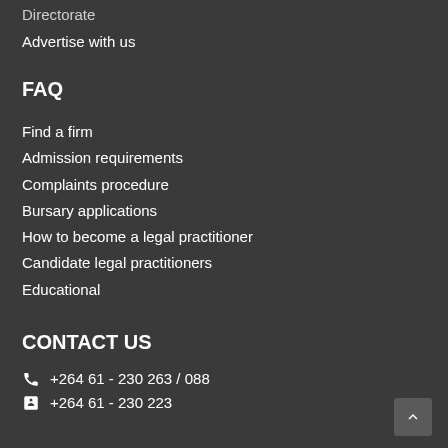Directorate
Advertise with us
FAQ
Find a firm
Admission requirements
Complaints procedure
Bursary applications
How to become a legal practitioner
Candidate legal practitioners
Educational
CONTACT US
+264 61 - 230 263 / 088
+264 61 - 230 223